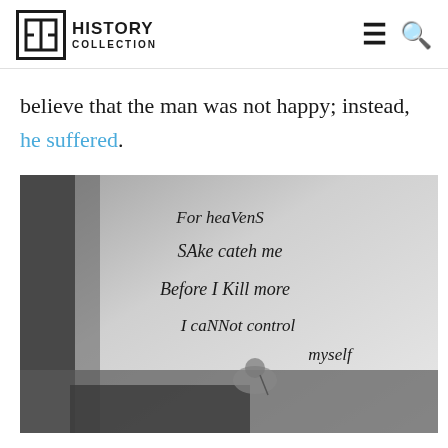History Collection
believe that the man was not happy; instead, he suffered.
[Figure (photo): Black and white photograph of a handwritten note reading: 'For heavenS SAke cateh me Before I Kill more I caNNot control myself' with a person visible at the bottom of the image near what appears to be a desk or table.]